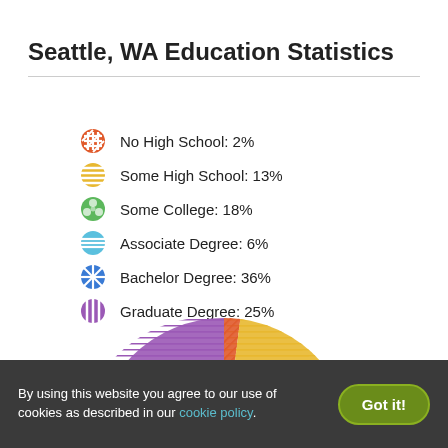Seattle, WA Education Statistics
[Figure (pie-chart): Seattle, WA Education Statistics]
By using this website you agree to our use of cookies as described in our cookie policy.